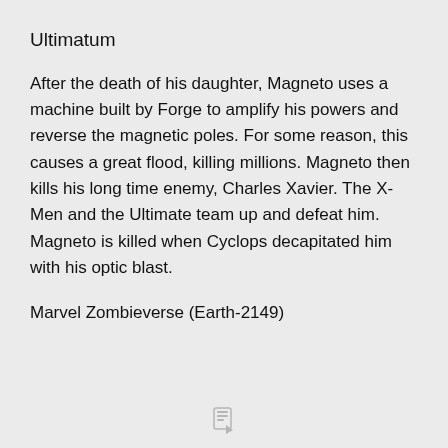Ultimatum
After the death of his daughter, Magneto uses a machine built by Forge to amplify his powers and reverse the magnetic poles. For some reason, this causes a great flood, killing millions. Magneto then kills his long time enemy, Charles Xavier. The X-Men and the Ultimate team up and defeat him. Magneto is killed when Cyclops decapitated him with his optic blast.
Marvel Zombieverse (Earth-2149)